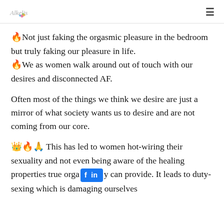[Logo: Alkelis] [Hamburger menu icon]
🔥Not just faking the orgasmic pleasure in the bedroom but truly faking our pleasure in life.
🔥We as women walk around out of touch with our desires and disconnected AF.
Often most of the things we think we desire are just a mirror of what society wants us to desire and are not coming from our core.
👑🔥🙏 This has led to women hot-wiring their sexuality and not even being aware of the healing properties true orga[f in]y can provide. It leads to duty-sexing which is damaging ourselves